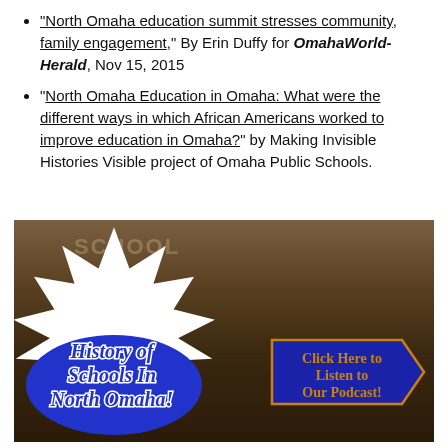“North Omaha education summit stresses community, family engagement,” By Erin Duffy for OmahaWorld-Herald, Nov 15, 2015
“North Omaha Education in Omaha: What were the different ways in which African Americans worked to improve education in Omaha?” by Making Invisible Histories Visible project of Omaha Public Schools.
[Figure (photo): Promotional image for 'History of Schools in North Omaha!' podcast, with a starburst graphic, blue bubble with italic bold text, and a blue arrow sign reading 'Click Here to Listen to Our Podcast!' on a sepia-toned background showing a school building.]